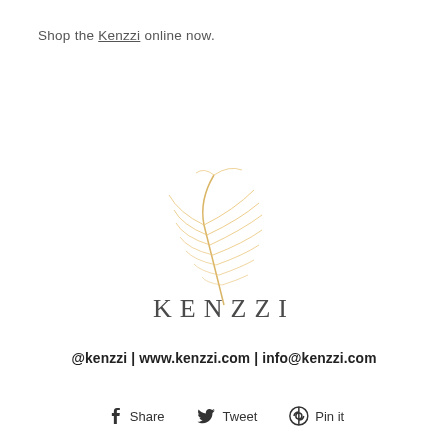Shop the Kenzzi online now.
[Figure (logo): Kenzzi brand logo featuring a golden feather/palm leaf above the word KENZZI in spaced serif-style letters]
@kenzzi | www.kenzzi.com | info@kenzzi.com
f Share   Twitter Tweet   Pinterest Pin it